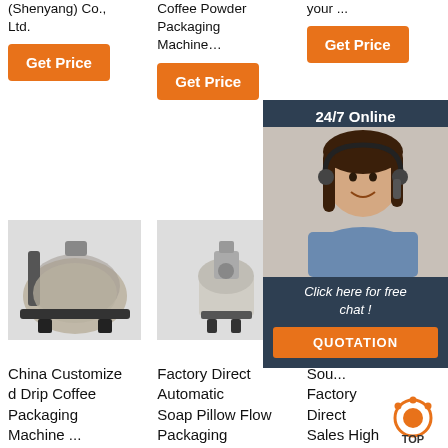(Shenyang) Co., Ltd.
Coffee Powder Packaging Machine…
your ...
[Figure (other): Orange Get Price button - column 1]
[Figure (other): Orange Get Price button - column 2]
[Figure (other): Orange Get Price button - column 3]
[Figure (photo): China Customized Drip Coffee Packaging Machine photo]
[Figure (photo): Factory Direct Automatic Soap Pillow Flow Packaging machine photo]
[Figure (photo): Source Factory Direct Sales High Selling Functional machine photo]
[Figure (other): 24/7 Online chat overlay with customer service representative and QUOTATION button]
China Customized Drip Coffee Packaging Machine ...
Factory Direct Automatic Soap Pillow Flow Packaging
Source Factory Direct Sales High Selling Functional